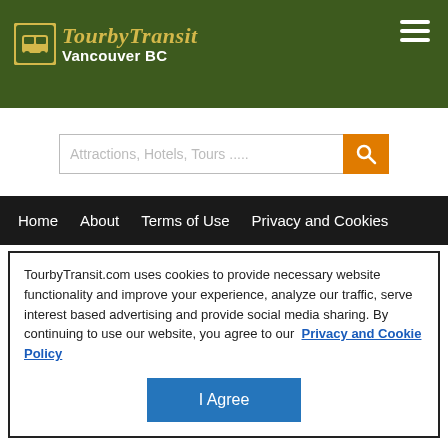TourbyTransit Vancouver BC
[Figure (screenshot): Search input box with placeholder text 'Attractions, Hotels, Tours .....' and an orange search button with a magnifying glass icon]
Home   About   Terms of Use   Privacy and Cookies
TourbyTransit.com uses cookies to provide necessary website functionality and improve your experience, analyze our traffic, serve interest based advertising and provide social media sharing. By continuing to use our website, you agree to our  Privacy and Cookie Policy
I Agree